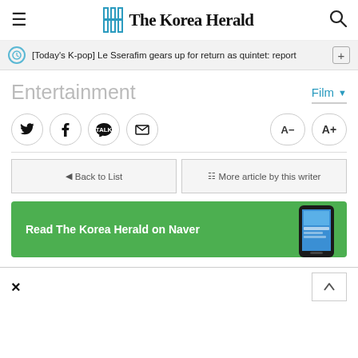The Korea Herald
[Today's K-pop] Le Sserafim gears up for return as quintet: report
Entertainment
Film
[Figure (screenshot): Social sharing buttons: Twitter, Facebook, KakaoTalk, Email; and font size buttons A- and A+]
◄ Back to List
≡ More article by this writer
[Figure (infographic): Green banner advertisement: Read The Korea Herald on Naver, with a smartphone image on the right]
✕